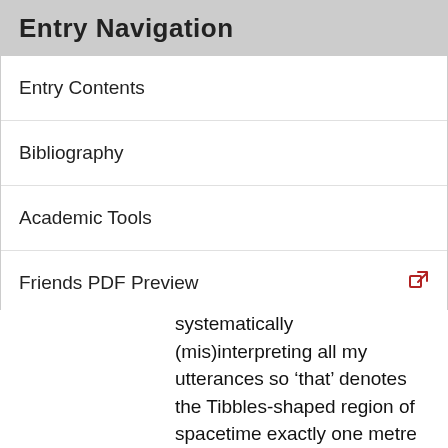Entry Navigation
Entry Contents
Bibliography
Academic Tools
Friends PDF Preview
Author and Citation Info
systematically (mis)interpreting all my utterances so ‘that’ denotes the Tibbles-shaped region of spacetime exactly one metre behind Tibbles. (We have to reinterpret what ‘cat’ means to make this work, but the discussions of semantic indeterminacy in Quine and Kripke make it clear how to do this.) So there's nothing in my usage dispositions that makes ‘that’ mean Tibbles, rather than the region of space time that ‘follows’ him around. But because Tibbles is